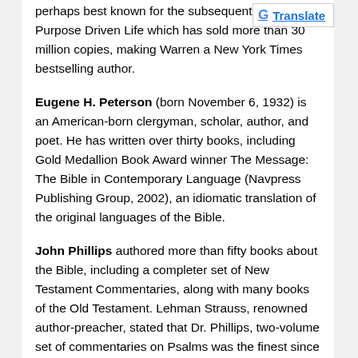perhaps best known for the subsequent book The Purpose Driven Life which has sold more than 30 million copies, making Warren a New York Times bestselling author.
Eugene H. Peterson (born November 6, 1932) is an American-born clergyman, scholar, author, and poet. He has written over thirty books, including Gold Medallion Book Award winner The Message: The Bible in Contemporary Language (Navpress Publishing Group, 2002), an idiomatic translation of the original languages of the Bible.
John Phillips authored more than fifty books about the Bible, including a completer set of New Testament Commentaries, along with many books of the Old Testament. Lehman Strauss, renowned author-preacher, stated that Dr. Phillips, two-volume set of commentaries on Psalms was the finest since Charles Spurgeon's Treasury of David. Many other Bible scholars have remarked that nothing compares to his commentaries on Proverbs. John believed that the greatest disservice a